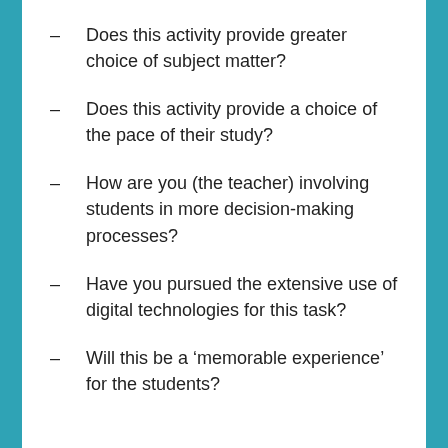Does this activity provide greater choice of subject matter?
Does this activity provide a choice of the pace of their study?
How are you (the teacher) involving students in more decision-making processes?
Have you pursued the extensive use of digital technologies for this task?
Will this be a ‘memorable experience’ for the students?